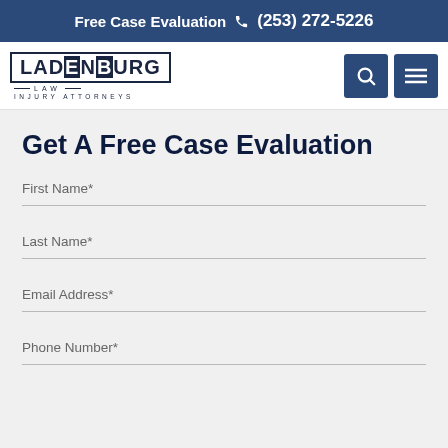Free Case Evaluation (253) 272-5226
[Figure (logo): Ladenburg Law Injury Attorneys logo with search and menu icons]
Get A Free Case Evaluation
First Name*
Last Name*
Email Address*
Phone Number*